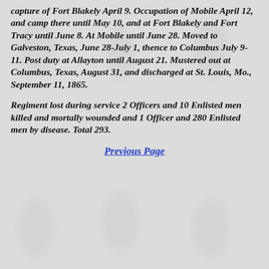capture of Fort Blakely April 9. Occupation of Mobile April 12, and camp there until May 10, and at Fort Blakely and Fort Tracy until June 8. At Mobile until June 28. Moved to Galveston, Texas, June 28-July 1, thence to Columbus July 9-11. Post duty at Allayton until August 21. Mustered out at Columbus, Texas, August 31, and discharged at St. Louis, Mo., September 11, 1865.
Regiment lost during service 2 Officers and 10 Enlisted men killed and mortally wounded and 1 Officer and 280 Enlisted men by disease. Total 293.
Previous Page